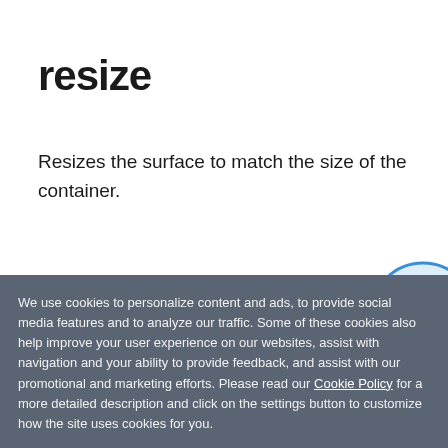resize
Resizes the surface to match the size of the container.
Parameters force? boolean
Whether to proceed with resizing even if th
We use cookies to personalize content and ads, to provide social media features and to analyze our traffic. Some of these cookies also help improve your user experience on our websites, assist with navigation and your ability to provide feedback, and assist with our promotional and marketing efforts. Please read our Cookie Policy for a more detailed description and click on the settings button to customize how the site uses cookies for you.